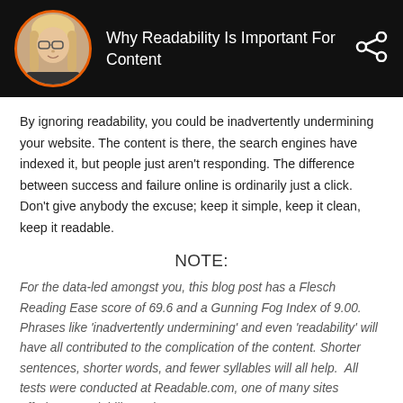Why Readability Is Important For Content
By ignoring readability, you could be inadvertently undermining your website. The content is there, the search engines have indexed it, but people just aren't responding. The difference between success and failure online is ordinarily just a click. Don't give anybody the excuse; keep it simple, keep it clean, keep it readable.
NOTE:
For the data-led amongst you, this blog post has a Flesch Reading Ease score of 69.6 and a Gunning Fog Index of 9.00. Phrases like 'inadvertently undermining' and even 'readability' will have all contributed to the complication of the content. Shorter sentences, shorter words, and fewer syllables will all help.  All tests were conducted at Readable.com, one of many sites offering a readability tool.
Share this post